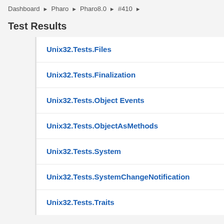Dashboard ▶ Pharo ▶ Pharo8.0 ▶ #410 ▶
Test Results
Unix32.Tests.Files
Unix32.Tests.Finalization
Unix32.Tests.Object Events
Unix32.Tests.ObjectAsMethods
Unix32.Tests.System
Unix32.Tests.SystemChangeNotification
Unix32.Tests.Traits